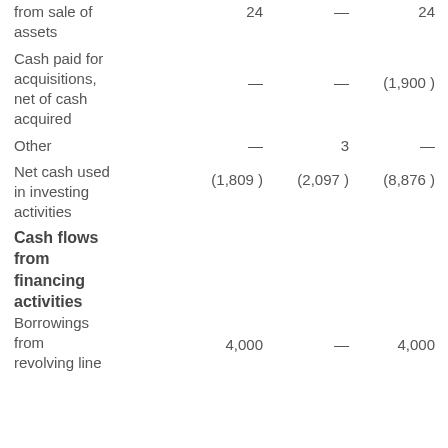|  | Col1 | Col2 | Col3 | Col4 |
| --- | --- | --- | --- | --- |
| from sale of assets | 24 | — | 24 | — |
| Cash paid for acquisitions, net of cash acquired | — | — | (1,900 ) | (10 |
| Other | — | 3 | — | 8 |
| Net cash used in investing activities | (1,809 ) | (2,097 ) | (8,876 ) | (17 |
| Cash flows from financing activities |  |  |  |  |
| Borrowings from revolving line | 4,000 | — | 4,000 | — |